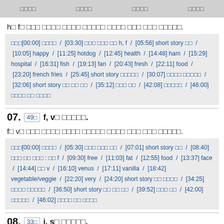□□□□  □□□□  □□□□  □□□□
h□ f□ □□□ □□□□ □□□□ □□□□□ □□□□ □□□ □□□ □□□□□.
□□□[00:00] □□□□  /  [03:30] □□□ □□□ □□ h, f  /  [05:56] short story □□  /  [10:05] happy  /  [11:25] hotdog  /  [12:45] health  /  [14:48] ham  /  [15:29] hospital  /  [16:31] fish  /  [19:13] fan  /  [20:43] fresh  /  [22:11] food  /  [23:20] french fries  /  [25:45] short story □□□□□  /  [30:07] □□□□ □□□□□  /  [32:06] short story □□ □□ □□  /  [35:12] □□□ □□  /  [42:08] □□□□□  /  [46:00] □□□□ □□ □□□□
07. 49□ f, v□ □□□□□.
f□ v□ □□□ □□□□ □□□□ □□□□□ □□□□ □□□ □□□ □□□□□.
□□□[00:00] □□□□  /  [05:30] □□□ □□□ □□  /  [07:01] short story □□  /  [08:40] □□□ □□ □□□ : □□ f  /  [09:30] free  /  [11:03] fat  /  [12:55] food  /  [13:37] face  /  [14:44] □□ v  /  [16:10] venus  /  [17:11] vanilla  /  [18:42] vegetable/veggie  /  [22:20] very  /  [24:20] short story □□ □□□□  /  [34:25] □□□□ □□□□□  /  [36:50] short story □□ □□ □□  /  [39:52] □□□ □□  /  [42:00] □□□□□  /  [46:02] □□□□ □□ □□□□
08. 33□ i, s□ □□□□□.